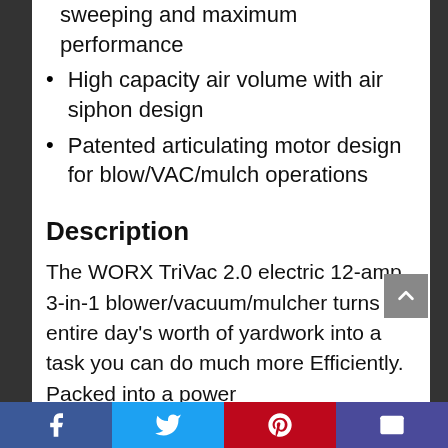sweeping and maximum performance
High capacity air volume with air siphon design
Patented articulating motor design for blow/VAC/mulch operations
Description
The WORX TriVac 2.0 electric 12-amp 3-in-1 blower/vacuum/mulcher turns an entire day's worth of yardwork into a task you can do much more Efficiently. Packed into a power